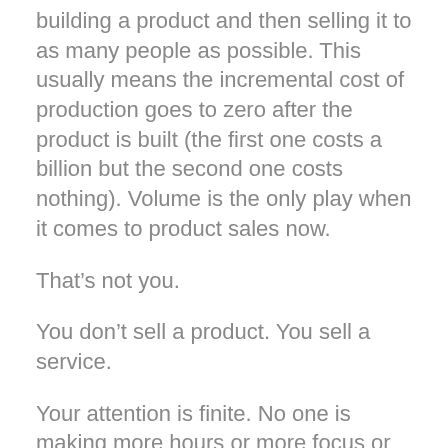building a product and then selling it to as many people as possible. This usually means the incremental cost of production goes to zero after the product is built (the first one costs a billion but the second one costs nothing). Volume is the only play when it comes to product sales now.
That’s not you.
You don’t sell a product. You sell a service.
Your attention is finite. No one is making more hours or more focus or more care.
That means coaches can’t compete on volume. They can only compete on attention and care.